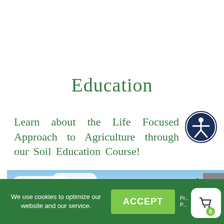Education
Learn about the Life Focused Approach to Agriculture through our Soil Education Course!
[Figure (screenshot): Earthfort Soil Education Course banner image with sky and clouds background. Text reads: earthfort Soil Education Course, A Life Focused Approach to Agriculture]
We use cookies to optimize our website and our service.
ACCEPT